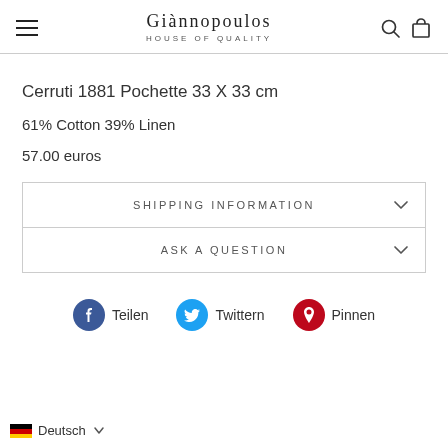Giànnopoulos House of Quality
Cerruti 1881 Pochette 33 X 33 cm
61% Cotton 39% Linen
57.00 euros
SHIPPING INFORMATION
ASK A QUESTION
Teilen   Twittern   Pinnen
Deutsch